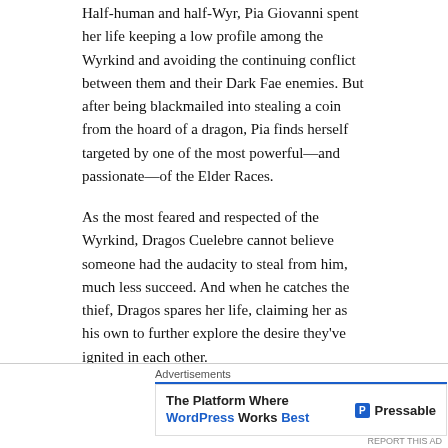Half-human and half-Wyr, Pia Giovanni spent her life keeping a low profile among the Wyrkind and avoiding the continuing conflict between them and their Dark Fae enemies. But after being blackmailed into stealing a coin from the hoard of a dragon, Pia finds herself targeted by one of the most powerful—and passionate—of the Elder Races.
As the most feared and respected of the Wyrkind, Dragos Cuelebre cannot believe someone had the audacity to steal from him, much less succeed. And when he catches the thief, Dragos spares her life, claiming her as his own to further explore the desire they've ignited in each other.
Pia knows she must repay Dragos for her trespass, but refuses to become his slave—although she cannot deny wanting him, body and soul.
Advertisements
The Platform Where WordPress Works Best — Pressable